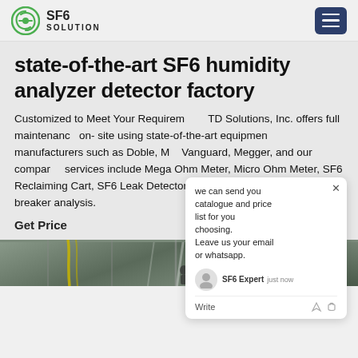SF6 SOLUTION
state-of-the-art SF6 humidity analyzer detector factory
Customized to Meet Your Requirements TD Solutions, Inc. offers full maintenance on-site using state-of-the-art equipment from manufacturers such as Doble, Mg, Vanguard, Megger, and our company services include Mega Ohm Meter, Micro Ohm Meter, SF6 Reclaiming Cart, SF6 Leak Detector,SF6 Purity Analyzer, and breaker analysis.
Get Price
[Figure (photo): Industrial warehouse interior with metal roof structure, yellow chains/equipment visible]
[Figure (other): Chat popup overlay with message: we can send you catalogue and price list for you choosing. Leave us your email or whatsapp. SF6 Expert just now. Write input area.]